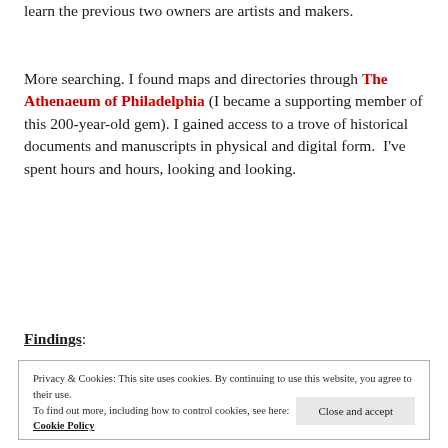learn the previous two owners are artists and makers.
More searching. I found maps and directories through The Athenaeum of Philadelphia (I became a supporting member of this 200-year-old gem). I gained access to a trove of historical documents and manuscripts in physical and digital form.  I've spent hours and hours, looking and looking.
Findings:
Privacy & Cookies: This site uses cookies. By continuing to use this website, you agree to their use.
To find out more, including how to control cookies, see here:
Cookie Policy
Close and accept